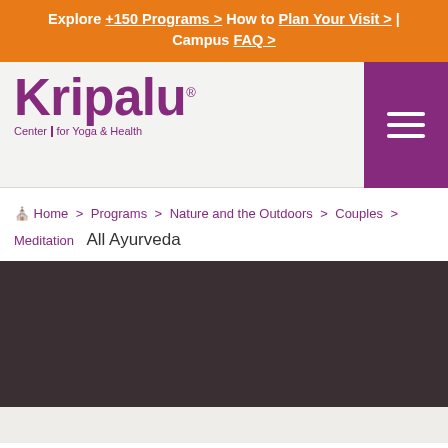Explore +150 Programs > How to Plan Your Visit > | Campus FAQ >
[Figure (logo): Kripalu Center for Yoga & Health logo in purple with registered trademark symbol]
Navigation menu (hamburger icon)
Home > Programs > Nature and the Outdoors > Couples > Meditation  All Ayurveda